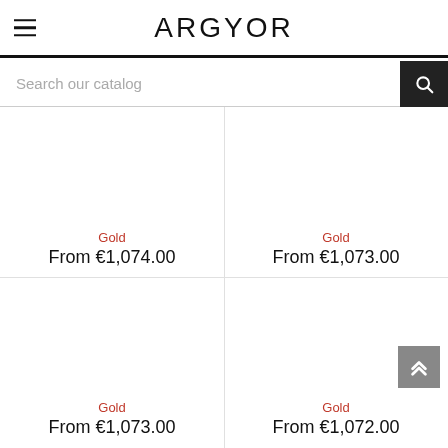ARGYOR
Search our catalog
Gold
From €1,074.00
Gold
From €1,073.00
Gold
From €1,073.00
Gold
From €1,072.00